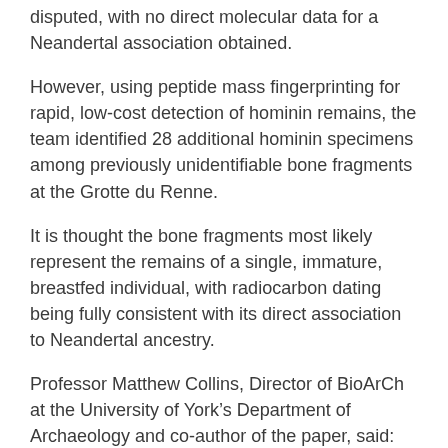disputed, with no direct molecular data for a Neandertal association obtained.
However, using peptide mass fingerprinting for rapid, low-cost detection of hominin remains, the team identified 28 additional hominin specimens among previously unidentifiable bone fragments at the Grotte du Renne.
It is thought the bone fragments most likely represent the remains of a single, immature, breastfed individual, with radiocarbon dating being fully consistent with its direct association to Neandertal ancestry.
Professor Matthew Collins, Director of BioArCh at the University of York’s Department of Archaeology and co-author of the paper, said: “For the first time, this research demonstrates the effectiveness of recent developments in ancient protein amino acid analysis and radiocarbon dating to discriminate between Late Pleistocene clades. To identify proteins related to specific developmental stages of bone formation